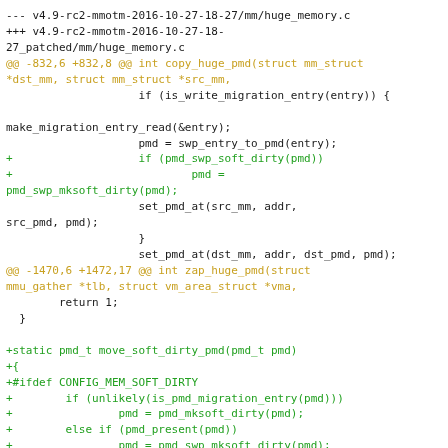Diff output for mm/huge_memory.c showing changes between v4.9-rc2-mmotm-2016-10-27-18-27 and patched version, including copy_huge_pmd and zap_huge_pmd function changes, and addition of move_soft_dirty_pmd function.